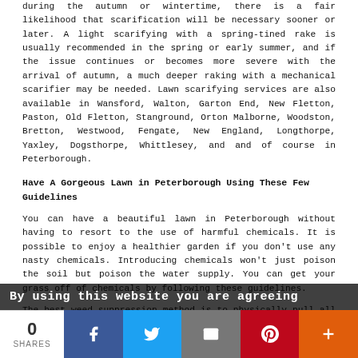during the autumn or wintertime, there is a fair likelihood that scarification will be necessary sooner or later. A light scarifying with a spring-tined rake is usually recommended in the spring or early summer, and if the issue continues or becomes more severe with the arrival of autumn, a much deeper raking with a mechanical scarifier may be needed. Lawn scarifying services are also available in Wansford, Walton, Garton End, New Fletton, Paston, Old Fletton, Stanground, Orton Malborne, Woodston, Bretton, Westwood, Fengate, New England, Longthorpe, Yaxley, Dogsthorpe, Whittlesey, and and of course in Peterborough.
Have A Gorgeous Lawn in Peterborough Using These Few Guidelines
You can have a beautiful lawn in Peterborough without having to resort to the use of harmful chemicals. It is possible to enjoy a healthier garden if you don't use any nasty chemicals. Introducing chemicals won't just poison the soil but poison the water supply. You can get your grass off of chemicals by following these guidelines.
The best weed suppression method is to physically pull all of the weeds. Almost all weeds are annuals, therefore if
By using this website you are agreeing
0 SHARES